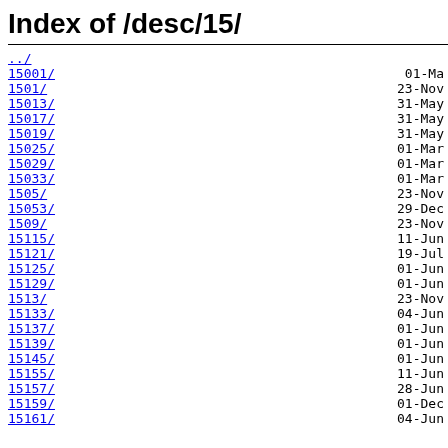Index of /desc/15/
../
15001/    01-Ma
1501/     23-Nov
15013/    31-May
15017/    31-May
15019/    31-May
15025/    01-Mar
15029/    01-Mar
15033/    01-Mar
1505/     23-Nov
15053/    29-Dec
1509/     23-Nov
15115/    11-Jun
15121/    19-Jul
15125/    01-Jun
15129/    01-Jun
1513/     23-Nov
15133/    04-Jun
15137/    01-Jun
15139/    01-Jun
15145/    01-Jun
15155/    11-Jun
15157/    28-Jun
15159/    01-Dec
15161/    04-Jun